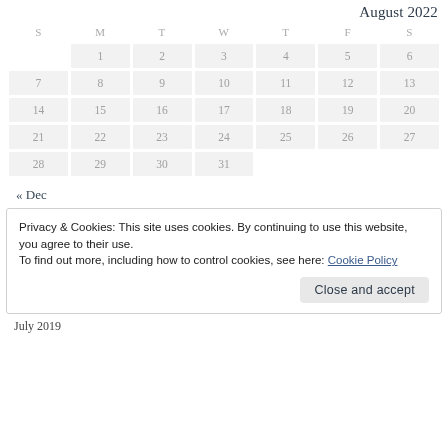August 2022
| S | M | T | W | T | F | S |
| --- | --- | --- | --- | --- | --- | --- |
|  | 1 | 2 | 3 | 4 | 5 | 6 |
| 7 | 8 | 9 | 10 | 11 | 12 | 13 |
| 14 | 15 | 16 | 17 | 18 | 19 | 20 |
| 21 | 22 | 23 | 24 | 25 | 26 | 27 |
| 28 | 29 | 30 | 31 |  |  |  |
« Dec
Privacy & Cookies: This site uses cookies. By continuing to use this website, you agree to their use.
To find out more, including how to control cookies, see here: Cookie Policy
Close and accept
July 2019